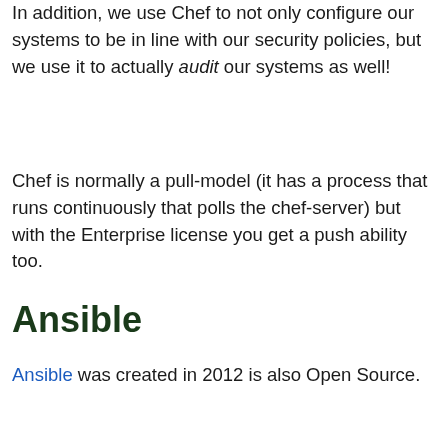In addition, we use Chef to not only configure our systems to be in line with our security policies, but we use it to actually audit our systems as well!
Chef is normally a pull-model (it has a process that runs continuously that polls the chef-server) but with the Enterprise license you get a push ability too.
Ansible
Ansible was created in 2012 is also Open Source.